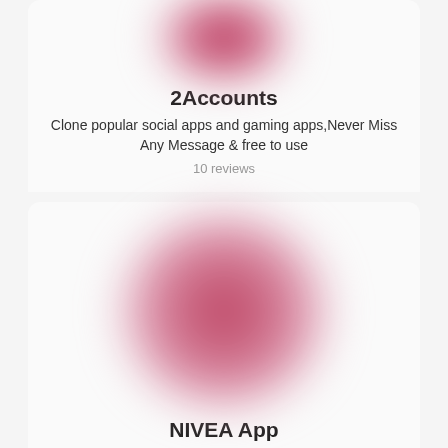[Figure (illustration): Pink blurred blob icon for 2Accounts app at top of first card]
2Accounts
Clone popular social apps and gaming apps,Never Miss Any Message & free to use
10 reviews
[Figure (illustration): Pink blurred blob icon for NIVEA App in second card]
NIVEA App
Earn points, get bonuses and do not miss any action.
13 reviews
[Figure (illustration): Pink blurred blob icon for a third app partially visible at bottom of page]